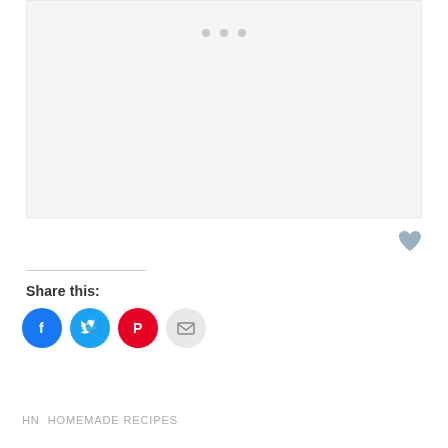[Figure (photo): Image carousel placeholder area with light gray background and three navigation dots at top]
[Figure (illustration): Heart icon (like/favorite button) in muted blue-gray color]
Share this:
[Figure (illustration): Social sharing buttons: Facebook (blue circle), Twitter (light blue circle), Pinterest (red circle), Email (light gray circle)]
HN
HOMEMADE RECIPES